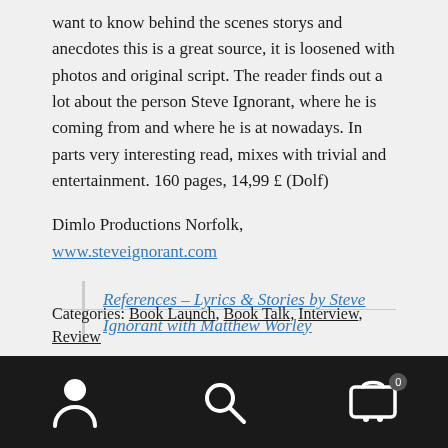want to know behind the scenes storys and anecdotes this is a great source, it is loosened with photos and original script. The reader finds out a lot about the person Steve Ignorant, where he is coming from and where he is at nowadays. In parts very interesting read, mixes with trivial and entertainment. 160 pages, 14,99 £ (Dolf)
Dimlo Productions Norfolk, www.steveignorant.com
References – Lyrics & Stories by Steve Ignorant with Matthew Worley
Categories: Book Launch, Book Talk, Interview, Review